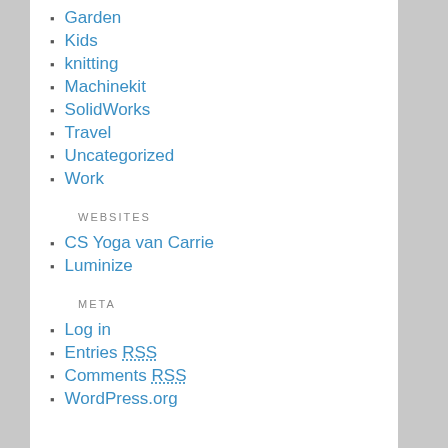Garden
Kids
knitting
Machinekit
SolidWorks
Travel
Uncategorized
Work
WEBSITES
CS Yoga van Carrie
Luminize
META
Log in
Entries RSS
Comments RSS
WordPress.org